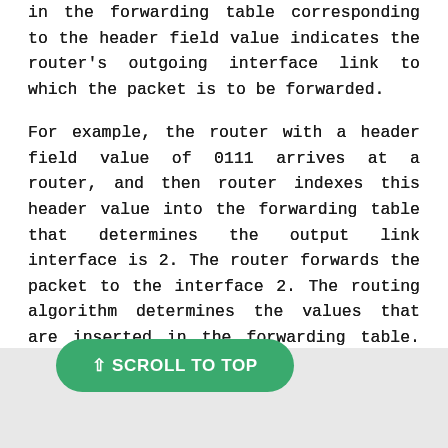in the forwarding table corresponding to the header field value indicates the router's outgoing interface link to which the packet is to be forwarded.
For example, the router with a header field value of 0111 arrives at a router, and then router indexes this header value into the forwarding table that determines the output link interface is 2. The router forwards the packet to the interface 2. The routing algorithm determines the values that are inserted in the forwarding table. The routing algorithm can be centralized or decentralized.
⇧ SCROLL TO TOP